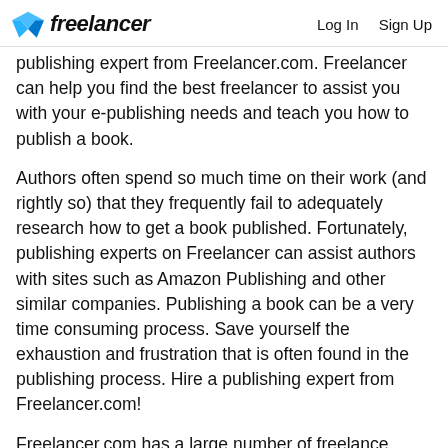freelancer  Log In  Sign Up
publishing expert from Freelancer.com. Freelancer can help you find the best freelancer to assist you with your e-publishing needs and teach you how to publish a book.
Authors often spend so much time on their work (and rightly so) that they frequently fail to adequately research how to get a book published. Fortunately, publishing experts on Freelancer can assist authors with sites such as Amazon Publishing and other similar companies. Publishing a book can be a very time consuming process. Save yourself the exhaustion and frustration that is often found in the publishing process. Hire a publishing expert from Freelancer.com!
Freelancer.com has a large number of freelance publishing experts from all around the world that can meet the specifications that you need. Crowdsourcing your